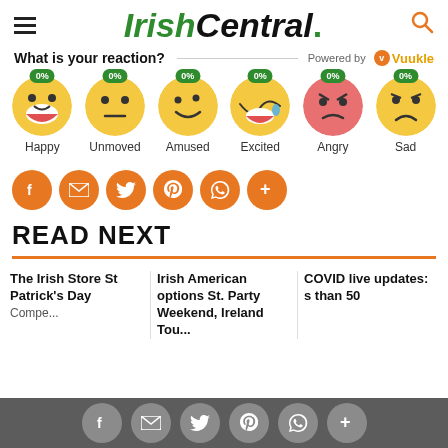IrishCentral.
What is your reaction? Powered by Vuukle
[Figure (infographic): Six emoji reaction buttons showing Happy, Unmoved, Amused, Excited, Angry, Sad — each with a green 0% badge on top]
[Figure (infographic): Orange circular social share buttons: Facebook, Email, Twitter, Pinterest, WhatsApp, More (+)]
READ NEXT
The Irish Store St Patrick's Day
Irish American options St. Party Weekend, Ireland Tou...
COVID live updates: s than 50